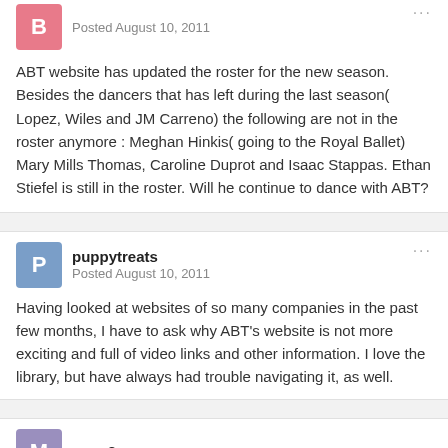Posted August 10, 2011
ABT website has updated the roster for the new season. Besides the dancers that has left during the last season( Lopez, Wiles and JM Carreno) the following are not in the roster anymore : Meghan Hinkis( going to the Royal Ballet) Mary Mills Thomas, Caroline Duprot and Isaac Stappas. Ethan Stiefel is still in the roster. Will he continue to dance with ABT?
puppytreats
Posted August 10, 2011
Having looked at websites of so many companies in the past few months, I have to ask why ABT's website is not more exciting and full of video links and other information. I love the library, but have always had trouble navigating it, as well.
mom2